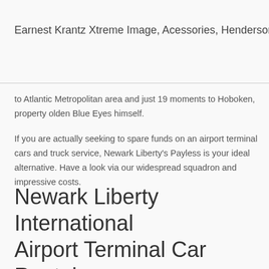Earnest Krantz Xtreme Image, Acessories, Henderson
to Atlantic Metropolitan area and just 19 moments to Hoboken, property olden Blue Eyes himself.
If you are actually seeking to spare funds on an airport terminal cars and truck service, Newark Liberty's Payless is your ideal alternative. Have a look via our widespread squadron and impressive costs.
Newark Liberty International Airport Terminal Car Rental Relevant Information